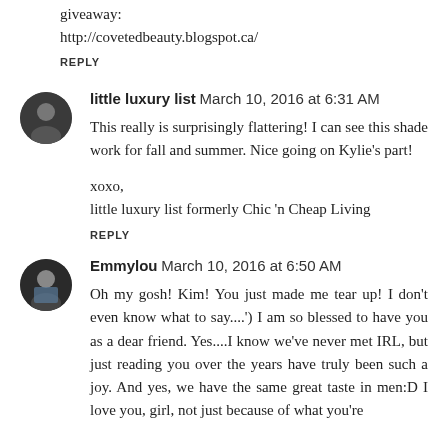giveaway:
http://covetedbeauty.blogspot.ca/
REPLY
little luxury list  March 10, 2016 at 6:31 AM
This really is surprisingly flattering! I can see this shade work for fall and summer. Nice going on Kylie's part!
xoxo,
little luxury list formerly Chic 'n Cheap Living
REPLY
Emmylou  March 10, 2016 at 6:50 AM
Oh my gosh! Kim! You just made me tear up! I don't even know what to say....') I am so blessed to have you as a dear friend. Yes....I know we've never met IRL, but just reading you over the years have truly been such a joy. And yes, we have the same great taste in men:D I love you, girl, not just because of what you're